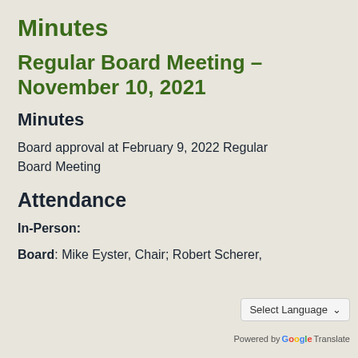Minutes
Regular Board Meeting – November 10, 2021
Minutes
Board approval at February 9, 2022 Regular Board Meeting
Attendance
In-Person:
Board: Mike Eyster, Chair; Robert Scherer,